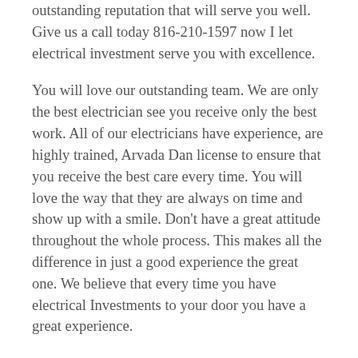outstanding reputation that will serve you well. Give us a call today 816-210-1597 now I let electrical investment serve you with excellence.
You will love our outstanding team. We are only the best electrician see you receive only the best work. All of our electricians have experience, are highly trained, Arvada Dan license to ensure that you receive the best care every time. You will love the way that they are always on time and show up with a smile. Don't have a great attitude throughout the whole process. This makes all the difference in just a good experience the great one. We believe that every time you have electrical Investments to your door you have a great experience.
Not only do our electricians have a great attitude but they are highly skilled. They can handle any residential or commercial called that you might have for that. You can have peace of mind when we come to your door